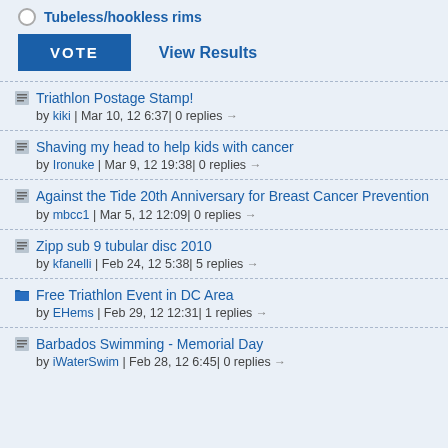Tubeless/hookless rims
VOTE | View Results
Triathlon Postage Stamp! by kiki | Mar 10, 12 6:37| 0 replies →
Shaving my head to help kids with cancer by Ironuke | Mar 9, 12 19:38| 0 replies →
Against the Tide 20th Anniversary for Breast Cancer Prevention by mbcc1 | Mar 5, 12 12:09| 0 replies →
Zipp sub 9 tubular disc 2010 by kfanelli | Feb 24, 12 5:38| 5 replies →
Free Triathlon Event in DC Area by EHems | Feb 29, 12 12:31| 1 replies →
Barbados Swimming - Memorial Day by iWaterSwim | Feb 28, 12 6:45| 0 replies →